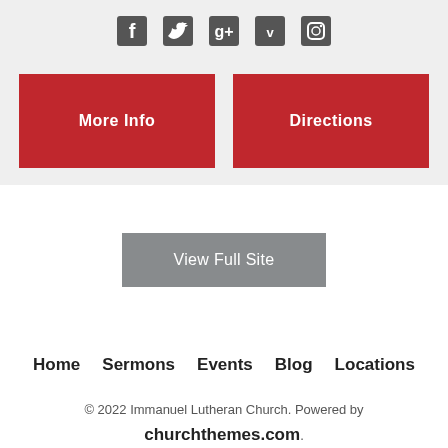[Figure (infographic): Social media icons row: Facebook, Twitter, Google+, Vimeo, Instagram]
More Info   Directions
View Full Site
Home   Sermons   Events   Blog   Locations
© 2022 Immanuel Lutheran Church. Powered by churchthemes.com.